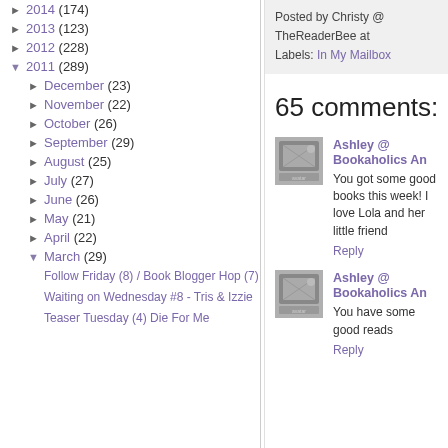► 2014 (174)
► 2013 (123)
► 2012 (228)
▼ 2011 (289)
► December (23)
► November (22)
► October (26)
► September (29)
► August (25)
► July (27)
► June (26)
► May (21)
► April (22)
▼ March (29)
Follow Friday (8) / Book Blogger Hop (7)
Waiting on Wednesday #8 - Tris & Izzie
Teaser Tuesday (4) Die For Me
Posted by Christy @ TheReaderBee at
Labels: In My Mailbox
65 comments:
Ashley @ Bookaholics An
You got some good books this week! I love Lola and her little friend
Reply
Ashley @ Bookaholics An
You have some good reads
Reply